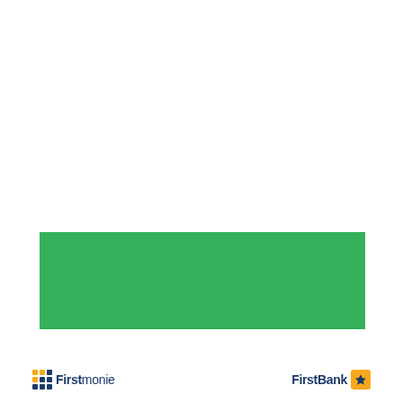[Figure (other): Green rectangular banner/bar element, solid green color (#34b15a), positioned in the lower-middle section of the page]
[Figure (logo): Firstmonie logo in bottom left: orange/yellow dot grid icon followed by 'First' in bold dark blue and 'monie' in regular dark blue text]
[Figure (logo): FirstBank logo in bottom right: 'FirstBank' text in dark blue with yellow eagle/bird icon to the right]